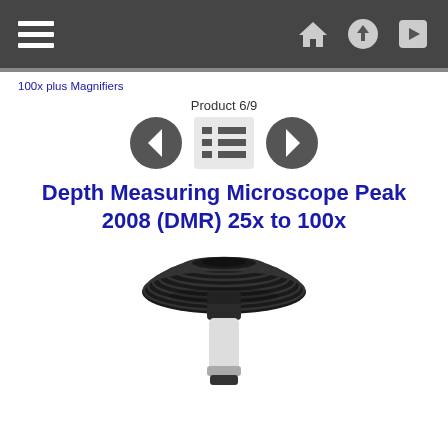Navigation bar with menu, home, upload, and login icons
100x plus Magnifiers
Product 6/9
[Figure (screenshot): Navigation controls: left arrow button, list/menu icon, right arrow button]
Depth Measuring Microscope Peak 2008 (DMR) 25x to 100x
[Figure (photo): Photo of a depth measuring microscope with a wide black ribbed eyepiece housing and a silver/white cylindrical body]